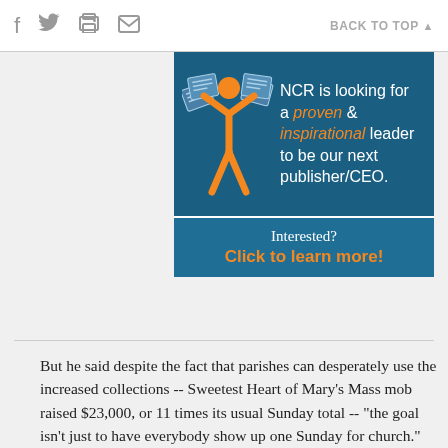f  [twitter]  [print]  [email]    BACK TO TOP ▲
[Figure (illustration): NCR advertisement banner with orange stick figure raising arms with newspapers, on dark teal background. Text: 'NCR is looking for a proven & inspirational leader to be our next publisher/CEO.' Bottom section: 'Interested? Click to learn more!']
But he said despite the fact that parishes can desperately use the increased collections -- Sweetest Heart of Mary's Mass mob raised $23,000, or 11 times its usual Sunday total -- "the goal isn't just to have everybody show up one Sunday for church."
"It's to bring people back to their faith, and I've seen that happen," Mann said. "The church I attend